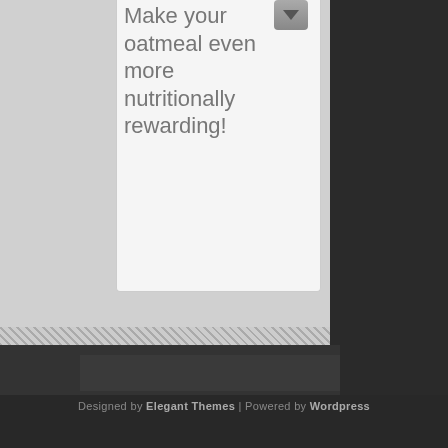Make your oatmeal even more nutritionally rewarding!
Designed by Elegant Themes | Powered by Wordpress